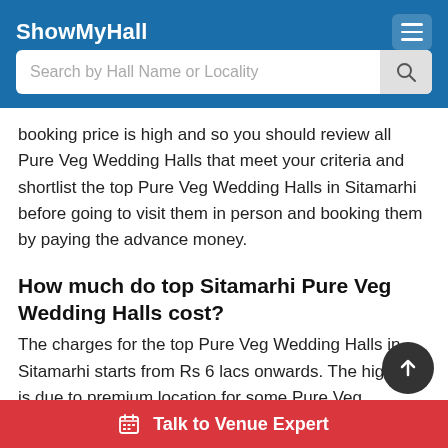ShowMyHall
booking price is high and so you should review all Pure Veg Wedding Halls that meet your criteria and shortlist the top Pure Veg Wedding Halls in Sitamarhi before going to visit them in person and booking them by paying the advance money.
How much do top Sitamarhi Pure Veg Wedding Halls cost?
The charges for the top Pure Veg Wedding Halls in Sitamarhi starts from Rs 6 lacs onwards. The high cost is due to premium location for some Pure Veg Wedding Halls. For others, the high rent is justified by the grandeur of the building and facilities provided at the venue. Check their prices on ShowMyHall website now to shortlist them.
Talk to Venue Expert